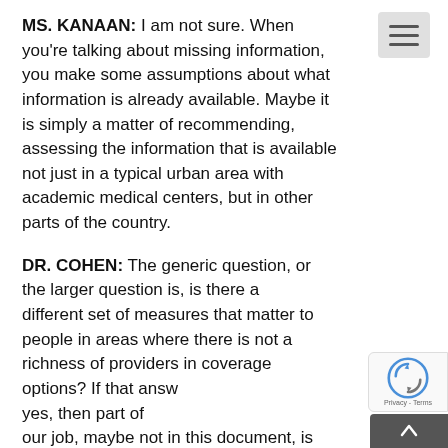MS. KANAAN: I am not sure. When you're talking about missing information, you make some assumptions about what information is already available. Maybe it is simply a matter of recommending, assessing the information that is available not just in a typical urban area with academic medical centers, but in other parts of the country.
DR. COHEN: The generic question, or the larger question is, is there a different set of measures that matter to people in areas where there is not a richness of providers in coverage options? If that answer is yes, then part of our job, maybe not in this document, is exploring the